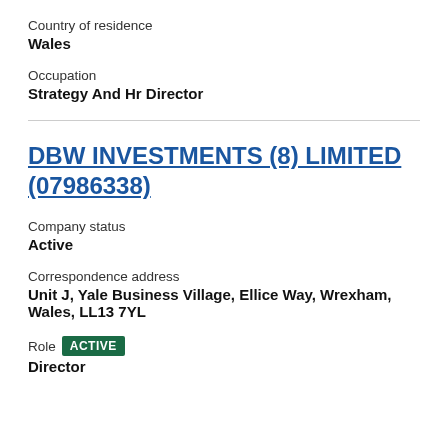Country of residence
Wales
Occupation
Strategy And Hr Director
DBW INVESTMENTS (8) LIMITED (07986338)
Company status
Active
Correspondence address
Unit J, Yale Business Village, Ellice Way, Wrexham, Wales, LL13 7YL
Role   ACTIVE
Director